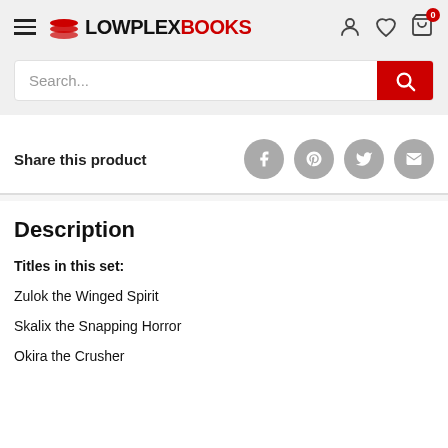LOWPLEXBOOKS
Search...
Share this product
Description
Titles in this set:
Zulok the Winged Spirit
Skalix the Snapping Horror
Okira the Crusher